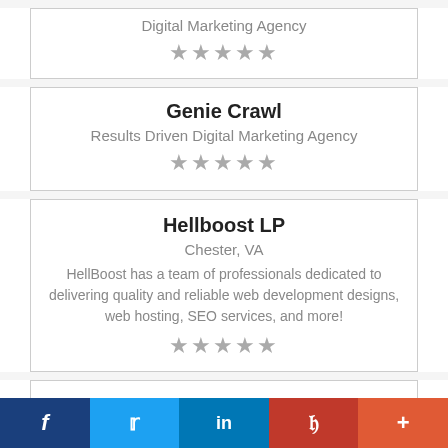Digital Marketing Agency
★★★★★
Genie Crawl
Results Driven Digital Marketing Agency
★★★★★
Hellboost LP
Chester, VA
HellBoost has a team of professionals dedicated to delivering quality and reliable web development designs, web hosting, SEO services, and more!
★★★★★
hipeDIGITAL
f  🐦  in  P  +